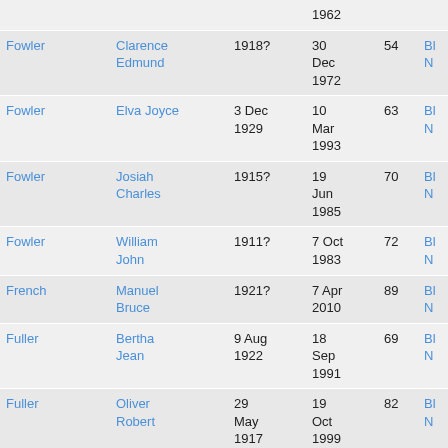| Last Name | First Name | Birth | Death | Age | ... |
| --- | --- | --- | --- | --- | --- |
|  |  |  | 1962 |  |  |
| Fowler | Clarence Edmund | 1918? | 30 Dec 1972 | 54 | Bl N |
| Fowler | Elva Joyce | 3 Dec 1929 | 10 Mar 1993 | 63 | Bl N |
| Fowler | Josiah Charles | 1915? | 19 Jun 1985 | 70 | Bl N |
| Fowler | William John | 1911? | 7 Oct 1983 | 72 | Bl N |
| French | Manuel Bruce | 1921? | 7 Apr 2010 | 89 | Bl N |
| Fuller | Bertha Jean | 9 Aug 1922 | 18 Sep 1991 | 69 | Bl N |
| Fuller | Oliver Robert | 29 May 1917 | 19 Oct 1999 | 82 | Bl N |
| Fuller | Rita Joyce | 1920? | 7 Apr 1993 | 73 | Bl N |